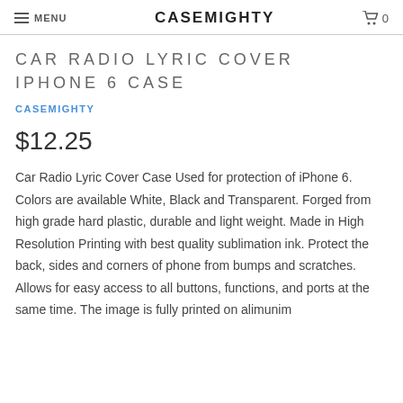MENU  CASEMIGHTY  0
CAR RADIO LYRIC COVER IPHONE 6 CASE
CASEMIGHTY
$12.25
Car Radio Lyric Cover Case Used for protection of iPhone 6. Colors are available White, Black and Transparent. Forged from high grade hard plastic, durable and light weight. Made in High Resolution Printing with best quality sublimation ink. Protect the back, sides and corners of phone from bumps and scratches. Allows for easy access to all buttons, functions, and ports at the same time. The image is fully printed on alimunim